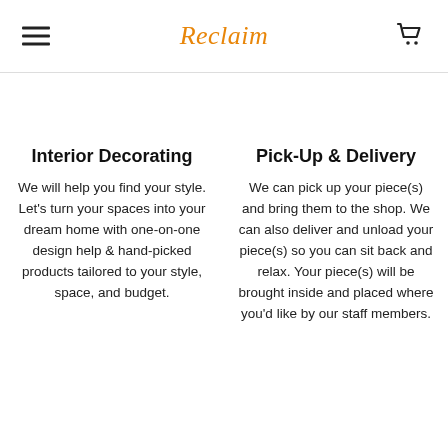Reclaim
Interior Decorating
We will help you find your style. Let's turn your spaces into your dream home with one-on-one design help & hand-picked products tailored to your style, space, and budget.
Pick-Up & Delivery
We can pick up your piece(s) and bring them to the shop. We can also deliver and unload your piece(s) so you can sit back and relax. Your piece(s) will be brought inside and placed where you'd like by our staff members.